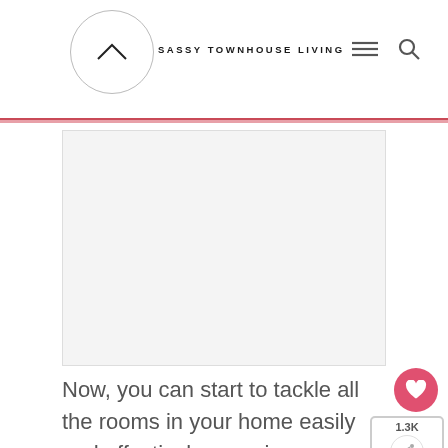SASSY TOWNHOUSE LIVING
[Figure (photo): Blank/light gray placeholder image area for a home organization article photo]
Now, you can start to tackle all the rooms in your home easily and effectively organize your home for the new year!